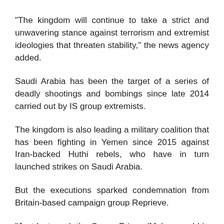"The kingdom will continue to take a strict and unwavering stance against terrorism and extremist ideologies that threaten stability," the news agency added.
Saudi Arabia has been the target of a series of deadly shootings and bombings since late 2014 carried out by IS group extremists.
The kingdom is also leading a military coalition that has been fighting in Yemen since 2015 against Iran-backed Huthi rebels, who have in turn launched strikes on Saudi Arabia.
But the executions sparked condemnation from Britain-based campaign group Reprieve.
"Just last week the Crown Prince (Mohammed bin Salman) told journalists he plans to modernise Saudi Arabia's criminal justice system, only to order the largest mass execution in the